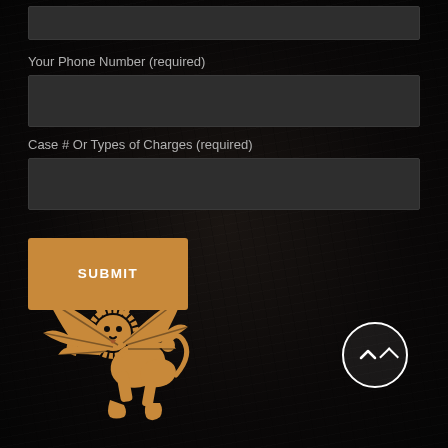Your Phone Number (required)
Case # Or Types of Charges (required)
SUBMIT
[Figure (logo): Golden winged lion heraldic logo on dark background]
[Figure (other): Circular scroll-to-top button with upward caret arrow, white border on dark background]